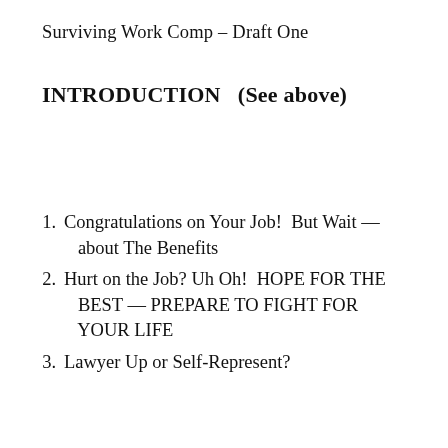Surviving Work Comp – Draft One
INTRODUCTION   (See above)
1. Congratulations on Your Job!  But Wait — about The Benefits
2. Hurt on the Job? Uh Oh!  HOPE FOR THE BEST — PREPARE TO FIGHT FOR YOUR LIFE
3. Lawyer Up or Self-Represent?